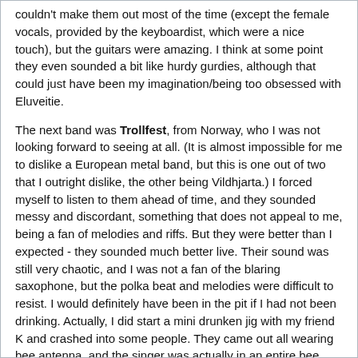couldn't make them out most of the time (except the female vocals, provided by the keyboardist, which were a nice touch), but the guitars were amazing. I think at some point they even sounded a bit like hurdy gurdies, although that could just have been my imagination/being too obsessed with Eluveitie.
The next band was Trollfest, from Norway, who I was not looking forward to seeing at all. (It is almost impossible for me to dislike a European metal band, but this is one out of two that I outright dislike, the other being Vildhjarta.) I forced myself to listen to them ahead of time, and they sounded messy and discordant, something that does not appeal to me, being a fan of melodies and riffs. But they were better than I expected - they sounded much better live. Their sound was still very chaotic, and I was not a fan of the blaring saxophone, but the polka beat and melodies were difficult to resist. I would definitely have been in the pit if I had not been drinking. Actually, I did start a mini drunken jig with my friend K and crashed into some people. They came out all wearing bee antenna, and the singer was actually in an entire bee costume. As if their music wasn't silly enough.